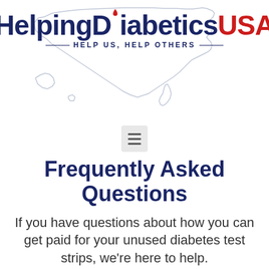[Figure (logo): Helping Diabetics USA logo with outline map of the United States in the background, a red blood drop above the letter D, and tagline 'Help Us, Help Others']
[Figure (other): Hamburger menu icon (three horizontal lines) on a light gray rounded rectangle button]
Frequently Asked Questions
If you have questions about how you can get paid for your unused diabetes test strips, we're here to help.